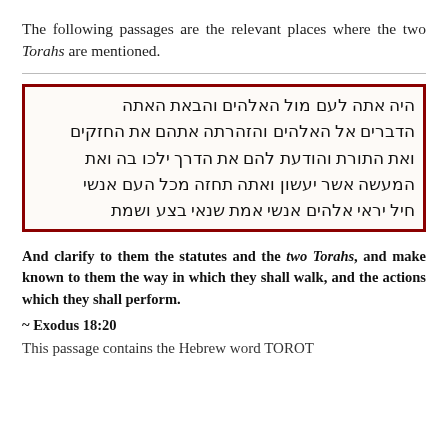The following passages are the relevant places where the two Torahs are mentioned.
[Figure (other): An image of Hebrew text from a religious manuscript, displayed with a dark red border. The text is written in Hebrew script reading right-to-left, showing multiple lines of biblical text.]
And clarify to them the statutes and the two Torahs, and make known to them the way in which they shall walk, and the actions which they shall perform.
~ Exodus 18:20
This passage contains the Hebrew word TOROT